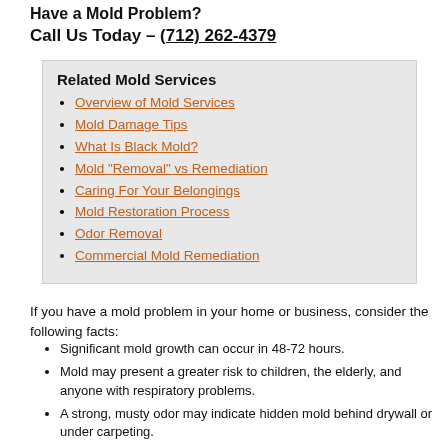Have a Mold Problem?
Call Us Today – (712) 262-4379
Related Mold Services
Overview of Mold Services
Mold Damage Tips
What Is Black Mold?
Mold "Removal" vs Remediation
Caring For Your Belongings
Mold Restoration Process
Odor Removal
Commercial Mold Remediation
If you have a mold problem in your home or business, consider the following facts:
Significant mold growth can occur in 48-72 hours.
Mold may present a greater risk to children, the elderly, and anyone with respiratory problems.
A strong, musty odor may indicate hidden mold behind drywall or under carpeting.